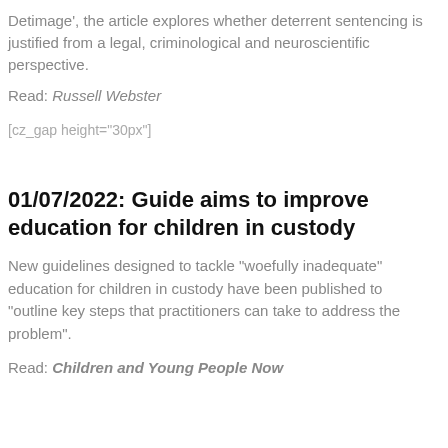Detimage', the article explores whether deterrent sentencing is justified from a legal, criminological and neuroscientific perspective.
Read: Russell Webster
[cz_gap height="30px"]
01/07/2022: Guide aims to improve education for children in custody
New guidelines designed to tackle "woefully inadequate" education for children in custody have been published to "outline key steps that practitioners can take to address the problem".
Read: Children and Young People Now